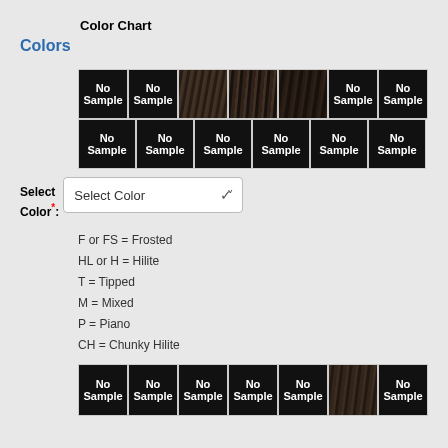Color Chart
Colors
[Figure (illustration): Grid of color swatches showing hair color samples. Top row has 7 swatches: 2 black 'No Sample', 1 dark brown photo, 1 dark brown photo, 1 dark brown photo, 1 black 'No Sample', 1 black 'No Sample'. Bottom row of top grid has 6 black 'No Sample' swatches.]
Select Color*:
[Figure (screenshot): Dropdown selector labeled 'Select Color' with chevron arrow]
F or FS = Frosted
HL or H = Hilite
T = Tipped
M = Mixed
P = Piano
CH = Chunky Hilite
[Figure (illustration): Bottom row of color swatches: 5 black 'No Sample', 1 dark brown photo, 1 black 'No Sample']